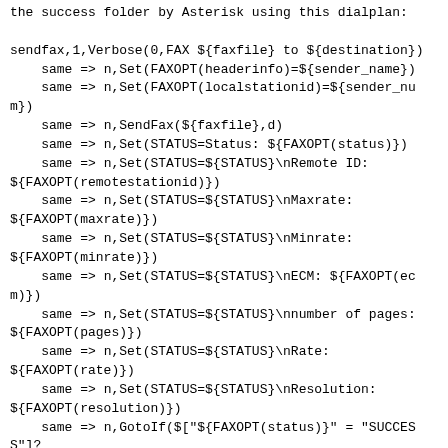the success folder by Asterisk using this dialplan:
sendfax,1,Verbose(0,FAX ${faxfile} to ${destination})
    same => n,Set(FAXOPT(headerinfo)=${sender_name})
    same => n,Set(FAXOPT(localstationid)=${sender_num})
    same => n,SendFax(${faxfile},d)
    same => n,Set(STATUS=Status: ${FAXOPT(status)})
    same => n,Set(STATUS=${STATUS}\nRemote ID:
${FAXOPT(remotestationid)})
    same => n,Set(STATUS=${STATUS}\nMaxrate:
${FAXOPT(maxrate)})
    same => n,Set(STATUS=${STATUS}\nMinrate:
${FAXOPT(minrate)})
    same => n,Set(STATUS=${STATUS}\nECM: ${FAXOPT(ecm)})
    same => n,Set(STATUS=${STATUS}\nnumber of pages:
${FAXOPT(pages)})
    same => n,Set(STATUS=${STATUS}\nRate:
${FAXOPT(rate)})
    same => n,Set(STATUS=${STATUS}\nResolution:
${FAXOPT(resolution)})
    same => n,GotoIf(${"${FAXOPT(status)}" = "SUCCESS"}?
faxok)
    same => n,Set(STATUS=${STATUS}\nError:
${FAXOPT(error)})
    same => n(faxok),Verbose(0,FAX ${destination} Status
(S): ${STATUS})
    same => n,Set(FAXNAME=${CUT(faxfile,/,6)})
    same => n,Set(FILE(/fax_status/${FAXNAME})=${STATUS})
    same => n,GotoIf(${"${FAXOPT(status)}" != "SUCCESS"}?
faxfail)